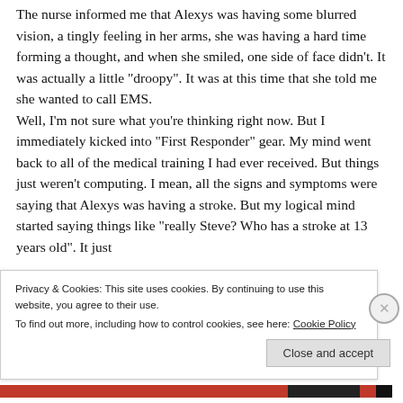The nurse informed me that Alexys was having some blurred vision, a tingly feeling in her arms, she was having a hard time forming a thought, and when she smiled, one side of face didn't. It was actually a little "droopy". It was at this time that she told me she wanted to call EMS. Well, I'm not sure what you're thinking right now. But I immediately kicked into "First Responder" gear. My mind went back to all of the medical training I had ever received. But things just weren't computing. I mean, all the signs and symptoms were saying that Alexys was having a stroke. But my logical mind started saying things like "really Steve? Who has a stroke at 13 years old". It just
Privacy & Cookies: This site uses cookies. By continuing to use this website, you agree to their use.
To find out more, including how to control cookies, see here: Cookie Policy
Close and accept